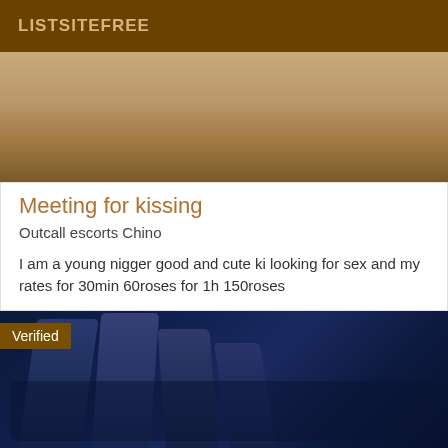LISTSITEFREE
[Figure (photo): Blurred tan/gold gradient background image, top portion of a listing card]
Meeting for kissing
Outcall escorts Chino
I am a young nigger good and cute ki looking for sex and my rates for 30min 60roses for 1h 150roses
[Figure (photo): Dark blue-toned close-up photo of fingers/hand, with a 'Verified' badge overlay in the top-left corner]